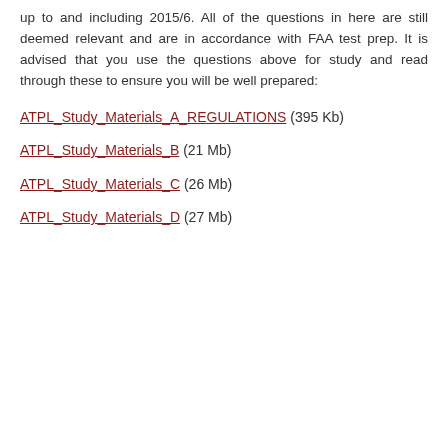up to and including 2015/6. All of the questions in here are still deemed relevant and are in accordance with FAA test prep. It is advised that you use the questions above for study and read through these to ensure you will be well prepared:
ATPL_Study_Materials_A_REGULATIONS (395 Kb)
ATPL_Study_Materials_B (21 Mb)
ATPL_Study_Materials_C (26 Mb)
ATPL_Study_Materials_D (27 Mb)